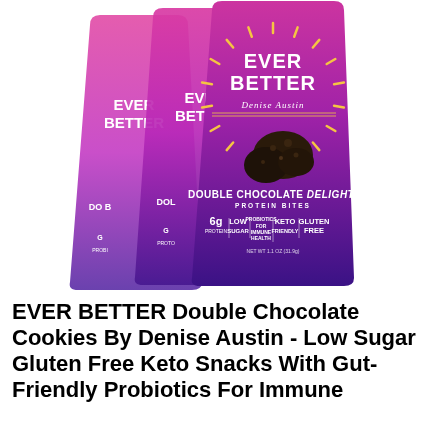[Figure (photo): Three pink-to-purple gradient product bags of 'Ever Better by Denise Austin - Double Chocolate Delight Protein Bites' arranged in a fanned-out display showing the front label with sunburst design, chocolate cookie bites, and claim badges: 6g Protein, Low Sugar, Probiotics for Immune Health, Keto Friendly, Gluten Free]
EVER BETTER Double Chocolate Cookies By Denise Austin - Low Sugar Gluten Free Keto Snacks With Gut-Friendly Probiotics For Immune